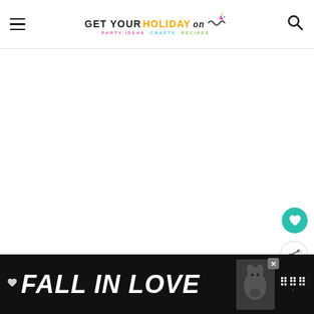GET YOUR HOLIDAY on — PARTY IDEAS · CRAFTS · RECIPES [nav header with hamburger menu and search icon]
[Figure (other): Large blank white content area — main article/image area of the website, currently empty/loading]
[Figure (other): Floating teal heart/favorite button and white share button on right side of page]
[Figure (other): Dark advertisement banner at bottom reading 'FALL IN LOVE' with dog image, close button, and streaming service logo]